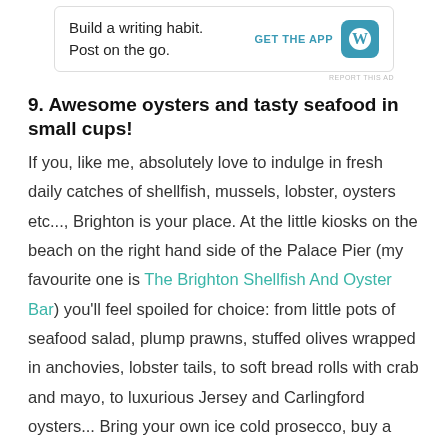[Figure (other): WordPress app advertisement banner with text 'Build a writing habit. Post on the go.' and 'GET THE APP' call to action with WordPress logo]
REPORT THIS AD
9. Awesome oysters and tasty seafood in small cups!
If you, like me, absolutely love to indulge in fresh daily catches of shellfish, mussels, lobster, oysters etc..., Brighton is your place. At the little kiosks on the beach on the right hand side of the Palace Pier (my favourite one is The Brighton Shellfish And Oyster Bar) you'll feel spoiled for choice: from little pots of seafood salad, plump prawns, stuffed olives wrapped in anchovies, lobster tails, to soft bread rolls with crab and mayo, to luxurious Jersey and Carlingford oysters... Bring your own ice cold prosecco, buy a few of these gorgeous goods from the ocean and have an awesome aperitivo watching the sunset on the beach. Heaven.